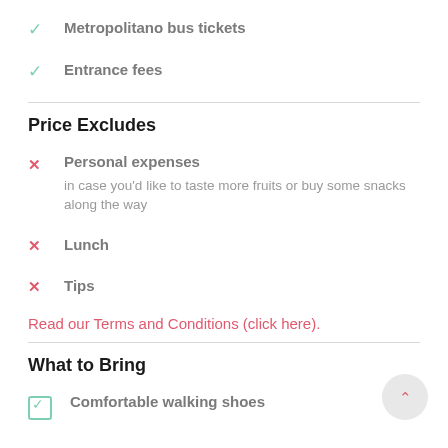Metropolitano bus tickets
Entrance fees
Price Excludes
Personal expenses
Lunch
Tips
Read our Terms and Conditions (click here).
What to Bring
Comfortable walking shoes
Money for your lunch